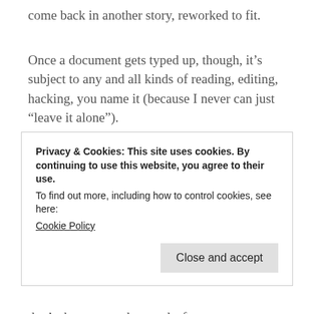come back in another story, reworked to fit.
Once a document gets typed up, though, it’s subject to any and all kinds of reading, editing, hacking, you name it (because I never can just “leave it alone”).
Once the story is finished, then the files get arranged in chronological order and printed out. This is when they get their first “heavy hand” line edits. Those edits get typed into the existing files. The the files get put into one document. All
Privacy & Cookies: This site uses cookies. By continuing to use this website, you agree to their use.
To find out more, including how to control cookies, see here:
Cookie Policy
that’s the process that works for me.